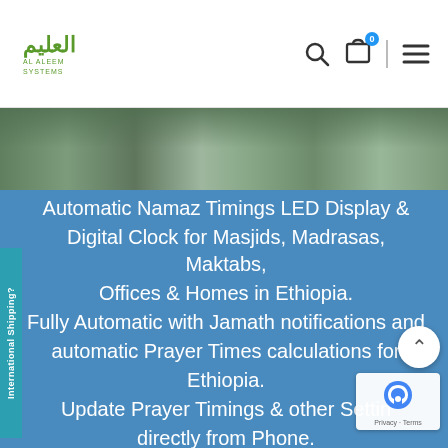[Figure (logo): Al Aleem Systems logo with Arabic text and English subtitle]
[Figure (photo): Interior photo of a mosque showing green decor, pillars and prayer area]
International Shipping?
Automatic Namaz Timings LED Display & Digital Clock for Masjids, Madrasas, Maktabs, Offices & Homes in Ethiopia. Fully Automatic with Jamath notifications and automatic Prayer Times calculations for Ethiopia. Update Prayer Timings & other Settings directly from Phone.